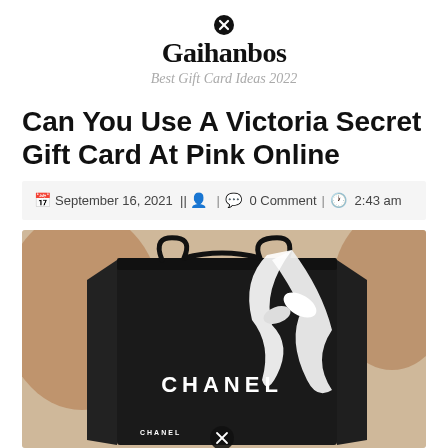Gaihanbos – Best Gift Card Ideas 2022
Can You Use A Victoria Secret Gift Card At Pink Online
September 16, 2021 || [user icon] | [comment icon] 0 Comment | [clock icon] 2:43 am
[Figure (photo): A black Chanel shopping bag with rope handle and white ribbon/tissue paper on a light fur-like background]